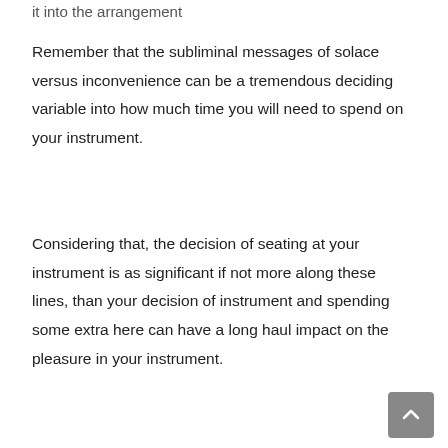it into the arrangement
Remember that the subliminal messages of solace versus inconvenience can be a tremendous deciding variable into how much time you will need to spend on your instrument.
Considering that, the decision of seating at your instrument is as significant if not more along these lines, than your decision of instrument and spending some extra here can have a long haul impact on the pleasure in your instrument.